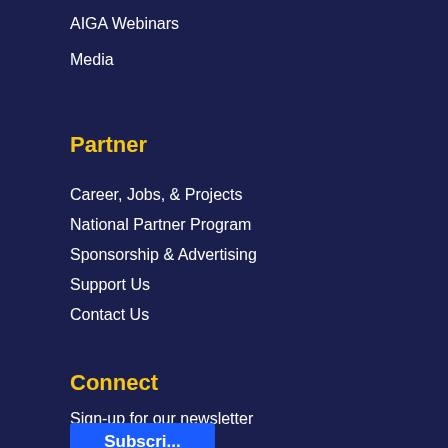AIGA Webinars
Media
Partner
Career, Jobs, & Projects
National Partner Program
Sponsorship & Advertising
Support Us
Contact Us
Connect
Sign-up for our newsletter